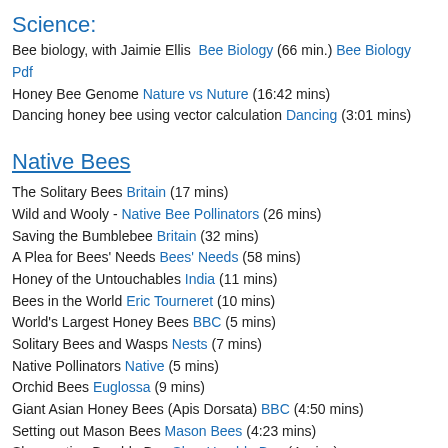Science:
Bee biology, with Jaimie Ellis  Bee Biology (66 min.) Bee Biology Pdf
Honey Bee Genome Nature vs Nuture (16:42 mins)
Dancing honey bee using vector calculation Dancing (3:01 mins)
Native Bees
The Solitary Bees Britain (17 mins)
Wild and Wooly - Native Bee Pollinators (26 mins)
Saving the Bumblebee Britain (32 mins)
A Plea for Bees' Needs Bees' Needs (58 mins)
Honey of the Untouchables India (11 mins)
Bees in the World Eric Tourneret (10 mins)
World's Largest Honey Bees BBC (5 mins)
Solitary Bees and Wasps Nests (7 mins)
Native Pollinators Native (5 mins)
Orchid Bees Euglossa (9 mins)
Giant Asian Honey Bees (Apis Dorsata) BBC (4:50 mins)
Setting out Mason Bees Mason Bees (4:23 mins)
Slow motion Bumble Bee Slow Humble Bee (4 mins)